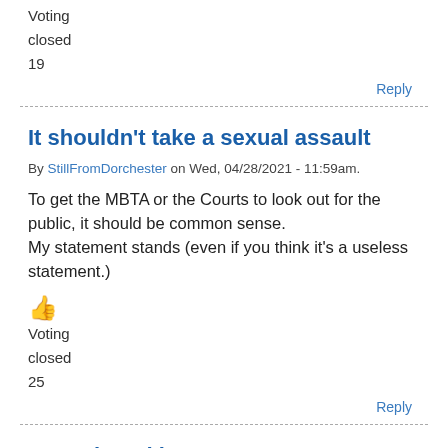Voting
closed
19
Reply
It shouldn't take a sexual assault
By StillFromDorchester on Wed, 04/28/2021 - 11:59am.
To get the MBTA or the Courts to look out for the public, it should be common sense.
My statement stands (even if you think it's a useless statement.)
Voting
closed
25
Reply
Assault and battery...